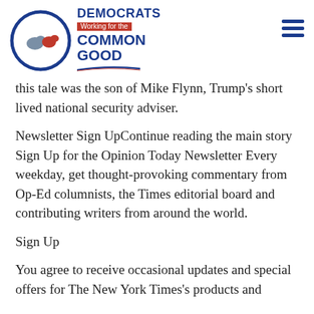[Figure (logo): Cheshire County Democrats logo — circular seal with donkey and elephant, text 'CHESHIRE COUNTY DEMOCRATS' around border; beside it text 'DEMOCRATS Working for the COMMON GOOD' in blue and red]
this tale was the son of Mike Flynn, Trump's short lived national security adviser.
Newsletter Sign UpContinue reading the main story Sign Up for the Opinion Today Newsletter Every weekday, get thought-provoking commentary from Op-Ed columnists, the Times editorial board and contributing writers from around the world.
Sign Up
You agree to receive occasional updates and special offers for The New York Times's products and